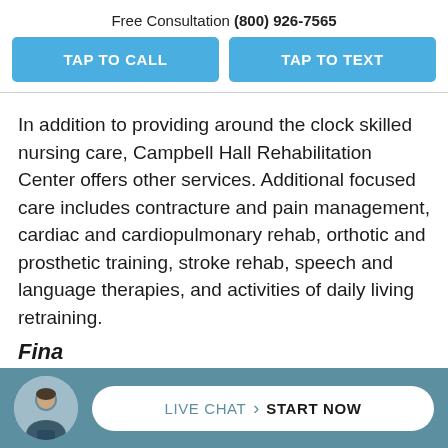Free Consultation (800) 926-7565
TAP TO CALL
TAP TO TEXT
In addition to providing around the clock skilled nursing care, Campbell Hall Rehabilitation Center offers other services. Additional focused care includes contracture and pain management, cardiac and cardiopulmonary rehab, orthotic and prosthetic training, stroke rehab, speech and language therapies, and activities of daily living retraining.
Fina... R
LIVE CHAT START NOW